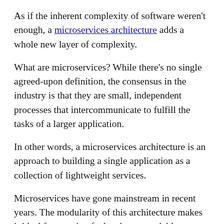As if the inherent complexity of software weren't enough, a microservices architecture adds a whole new layer of complexity.
What are microservices? While there's no single agreed-upon definition, the consensus in the industry is that they are small, independent processes that intercommunicate to fulfill the tasks of a larger application.
In other words, a microservices architecture is an approach to building a single application as a collection of lightweight services.
Microservices have gone mainstream in recent years. The modularity of this architecture makes it ideal for creating fault-tolerant, scalable systems developed by agile teams with quick iteration times.